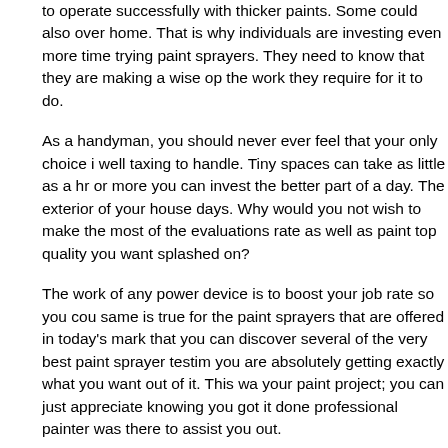to operate successfully with thicker paints. Some could also over home. That is why individuals are investing even more time trying paint sprayers. They need to know that they are making a wise op the work they require for it to do.
As a handyman, you should never ever feel that your only choice i well taxing to handle. Tiny spaces can take as little as a hr or more you can invest the better part of a day. The exterior of your house days. Why would you not wish to make the most of the evaluations rate as well as paint top quality you want splashed on?
The work of any power device is to boost your job rate so you cou same is true for the paint sprayers that are offered in today's mark that you can discover several of the very best paint sprayer testim you are absolutely getting exactly what you want out of it. This wa your paint project; you can just appreciate knowing you got it done professional painter was there to assist you out.
When reviewing the very best paint sprayer reviews, you will certa individuals purchase one for a solitary job, however after that deve utilize it for as soon as they discover exactly how easy it is to use.